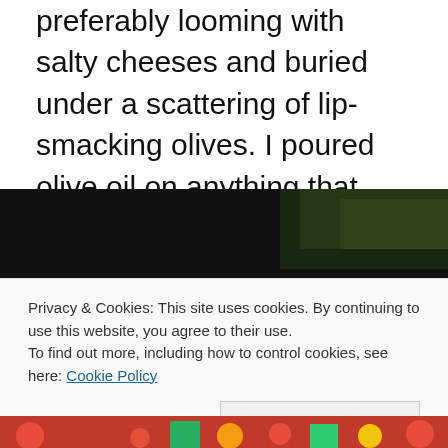preferably looming with salty cheeses and buried under a scattering of lip-smacking olives. I poured olive oil on anything that would stand still, plus served up lots of piping hot home cooked meals, saddled with plentiful helpings of white basmati rice. Whilst living in my insular fantasy of good health I was forgoing a lot of brightly-colored, robust fruits and vegetables.
[Figure (photo): Dark photo partially visible, dark background with hint of green foliage]
Privacy & Cookies: This site uses cookies. By continuing to use this website, you agree to their use.
To find out more, including how to control cookies, see here: Cookie Policy
Close and accept
[Figure (photo): Bottom strip of colorful fruits and vegetables photo]